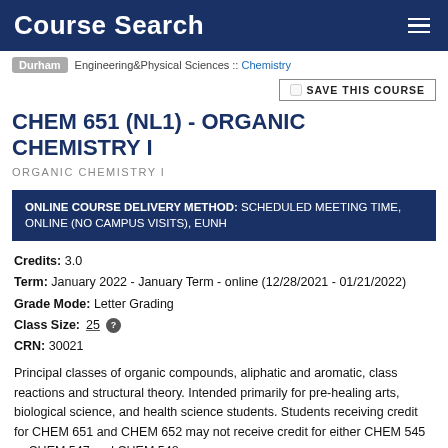Course Search
Durham  Engineering&Physical Sciences :: Chemistry
SAVE THIS COURSE
CHEM 651 (NL1) - ORGANIC CHEMISTRY I
ORGANIC CHEMISTRY I
ONLINE COURSE DELIVERY METHOD: SCHEDULED MEETING TIME, ONLINE (NO CAMPUS VISITS), EUNH
Credits: 3.0
Term: January 2022 - January Term - online (12/28/2021 - 01/21/2022)
Grade Mode: Letter Grading
Class Size: 25
CRN: 30021
Principal classes of organic compounds, aliphatic and aromatic, class reactions and structural theory. Intended primarily for pre-healing arts, biological science, and health science students. Students receiving credit for CHEM 651 and CHEM 652 may not receive credit for either CHEM 545 or CHEM 547 and CHEM 548.